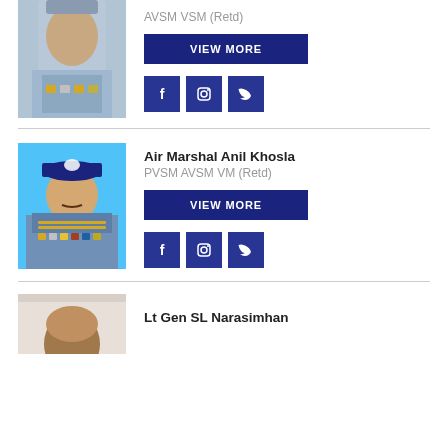[Figure (photo): Portrait photo of a military officer in uniform, partially visible, grey/blue background]
AVSM VSM (Retd)
VIEW MORE
[Figure (other): Social media icons: Facebook, Instagram, Twitter on dark navy squares]
[Figure (photo): Portrait photo of Air Marshal Anil Khosla in Indian Air Force uniform with blue cap and medals, light blue background]
Air Marshal Anil Khosla
PVSM AVSM VM (Retd)
VIEW MORE
[Figure (other): Social media icons: Facebook, Instagram, Twitter on dark navy squares]
[Figure (photo): Portrait photo of Lt Gen SL Narasimhan, partially visible at bottom]
Lt Gen SL Narasimhan